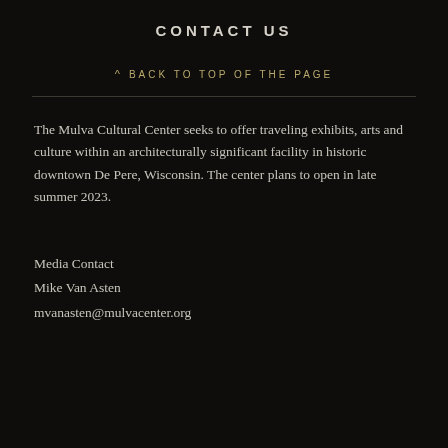CONTACT US
^ BACK TO TOP OF THE PAGE
The Mulva Cultural Center seeks to offer traveling exhibits, arts and culture within an architecturally significant facility in historic downtown De Pere, Wisconsin. The center plans to open in late summer 2023.
Media Contact
Mike Van Asten
mvanasten@mulvacenter.org